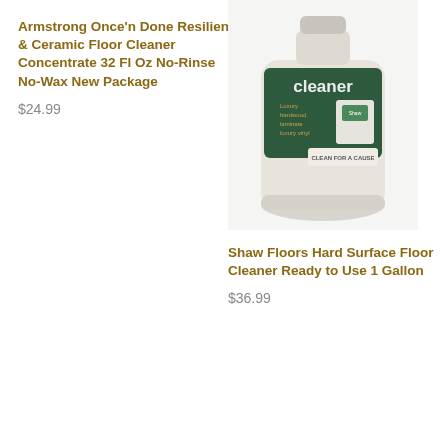Armstrong Once'n Done Resilient & Ceramic Floor Cleaner Concentrate 32 Fl Oz No-Rinse No-Wax New Package
$24.99
[Figure (photo): Product photo of Shaw Floors Hard Surface Floor Cleaner bottle, beige/white container with dark green label showing 'cleaner' text and 'CLEAN FOR A CAUSE' label]
Shaw Floors Hard Surface Floor Cleaner Ready to Use 1 Gallon
$36.99